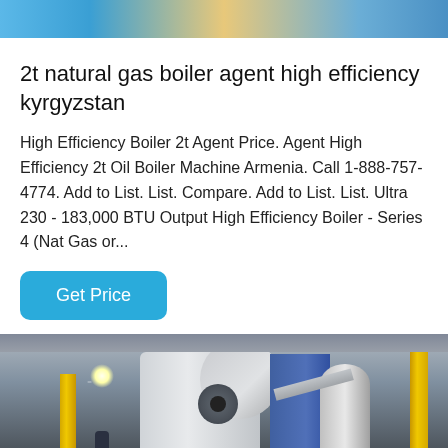[Figure (photo): Top cropped photo showing industrial/mechanical equipment with blue and orange tones]
2t natural gas boiler agent high efficiency kyrgyzstan
High Efficiency Boiler 2t Agent Price. Agent High Efficiency 2t Oil Boiler Machine Armenia. Call 1-888-757-4774. Add to List. List. Compare. Add to List. List. Ultra 230 - 183,000 BTU Output High Efficiency Boiler - Series 4 (Nat Gas or...
Get Price
[Figure (photo): Industrial boiler room with large white cylindrical boiler units, yellow gas pipes, blue control panel, and overhead lighting in a warehouse setting]